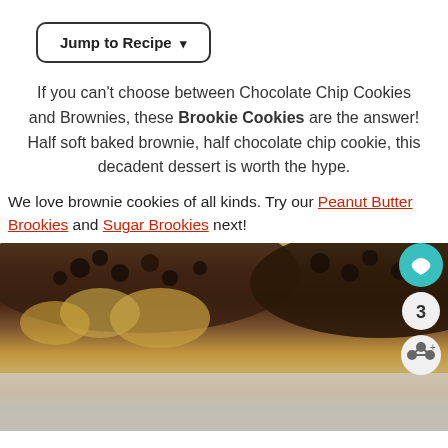Jump to Recipe ▾
If you can't choose between Chocolate Chip Cookies and Brownies, these Brookie Cookies are the answer! Half soft baked brownie, half chocolate chip cookie, this decadent dessert is worth the hype.
We love brownie cookies of all kinds. Try our Peanut Butter Brookies and Sugar Brookies next!
[Figure (photo): Close-up photo of brookie cookies showing a half chocolate brownie and half chocolate chip cookie texture on a light background]